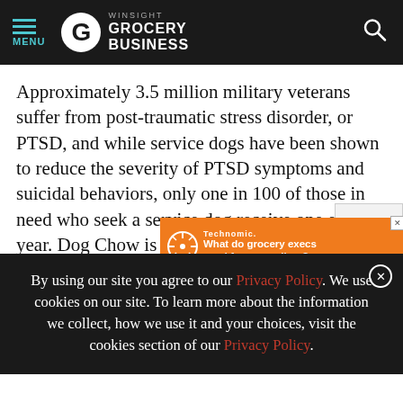MENU | WINSIGHT GROCERY BUSINESS
Approximately 3.5 million military veterans suffer from post-traumatic stress disorder, or PTSD, and while service dogs have been shown to reduce the severity of PTSD symptoms and suicidal behaviors, only one in 100 of those in need who seek a service dog receive one each year. Dog Chow is on a mission to help.
This year... to service dog organizations since the start of the Service
[Figure (screenshot): Orange advertisement banner for Technomic: 'What do grocery execs need from suppliers? »']
By using our site you agree to our Privacy Policy. We use cookies on our site. To learn more about the information we collect, how we use it and your choices, visit the cookies section of our Privacy Policy.